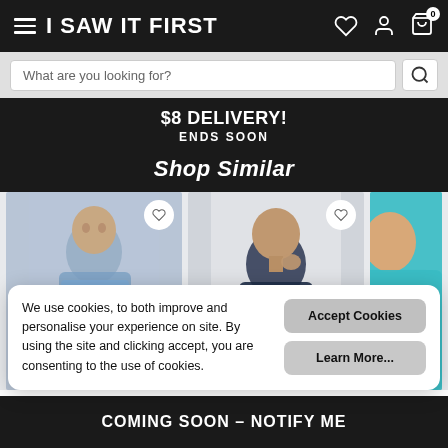I SAW IT FIRST
What are you looking for?
$8 DELIVERY! ENDS SOON
Shop Similar
[Figure (photo): Three male models wearing casualwear. First wears a blue t-shirt, second wears a navy sweatshirt, third wears a turquoise t-shirt.]
We use cookies, to both improve and personalise your experience on site. By using the site and clicking accept, you are consenting to the use of cookies.
Accept Cookies
Learn More...
COMING SOON – NOTIFY ME